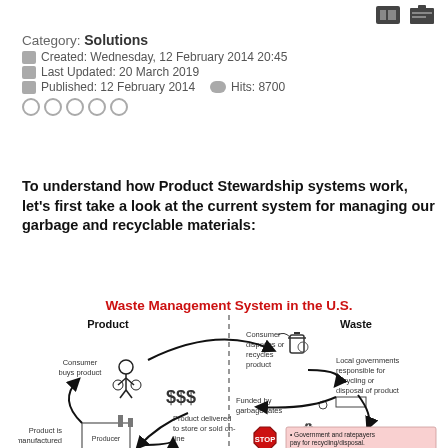Category: Solutions | Created: Wednesday, 12 February 2014 20:45 | Last Updated: 20 March 2019 | Published: 12 February 2014  Hits: 8700
To understand how Product Stewardship systems work, let's first take a look at the current system for managing our garbage and recyclable materials:
[Figure (infographic): Waste Management System in the U.S. — circular flow diagram showing: Consumer buys product → Consumer disposes or recycles product → Local governments responsible for recycling or disposal of product → (funded by garbage rates) → back to Producer → Product is manufactured → Product delivered to store or sold on-line → Consumer buys product. Bottom section shows STOP sign and bullet points about government and ratepayers paying for recycling/disposal and no incentive for manufacturers to design less waste.]